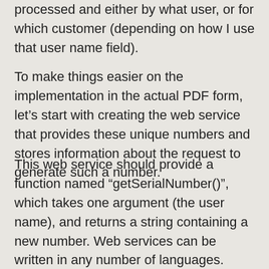processed and either by what user, or for which customer (depending on how I use that user name field).
To make things easier on the implementation in the actual PDF form, let’s start with creating the web service that provides these unique numbers and stores information about the request to generate such a number.
This web service should provide a function named “getSerialNumber()”, which takes one argument (the user name), and returns a string containing a new number. Web services can be written in any number of languages. Oftentimes web services are written in Java and are then executed in an application server like Apache Tomcat. For this sample implementation, I selected a web service written in PHP. This has the